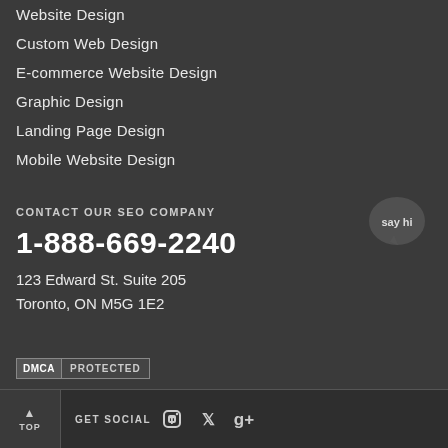Website Design
Custom Web Design
E-commerce Website Design
Graphic Design
Landing Page Design
Mobile Website Design
CONTACT OUR SEO COMPANY
1-888-669-2240
123 Edward St. Suite 205
Toronto, ON M5G 1E2
[Figure (logo): DMCA Protected badge]
[Figure (logo): Chat bubble icon with 'say hi' text]
TOP  GET SOCIAL